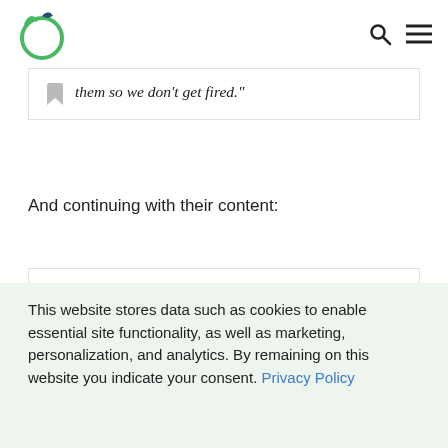[Logo] [Search icon] [Menu icon]
them so we don’t get fired.”
And continuing with their content:
“When it comes to fruit, we know our onions. In fact, we know that an
This website stores data such as cookies to enable essential site functionality, as well as marketing, personalization, and analytics. By remaining on this website you indicate your consent. Privacy Policy